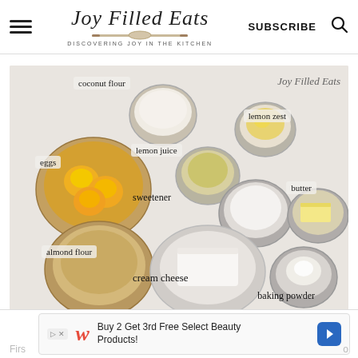Joy Filled Eats — DISCOVERING JOY IN THE KITCHEN — SUBSCRIBE
[Figure (photo): Overhead flat-lay photo of baking ingredients in glass bowls on a white surface: coconut flour, eggs, lemon juice, lemon zest, almond flour, cream cheese, sweetener, butter, baking powder. Each ingredient is labeled with a text overlay. Joy Filled Eats watermark in top right corner.]
[Figure (screenshot): Walgreens advertisement banner: 'Buy 2 Get 3rd Free Select Beauty Products!']